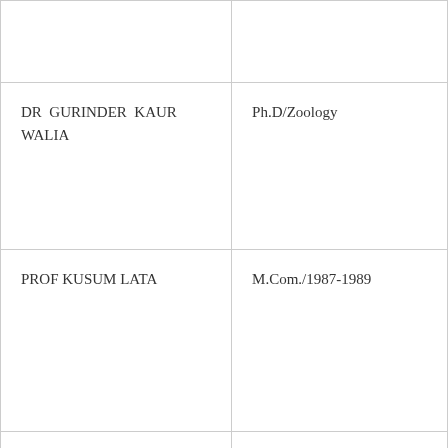|  |  |
| DR GURINDER KAUR WALIA | Ph.D/Zoology |
| PROF KUSUM LATA | M.Com./1987-1989 |
| SH SATINDER SINGH | MBA |